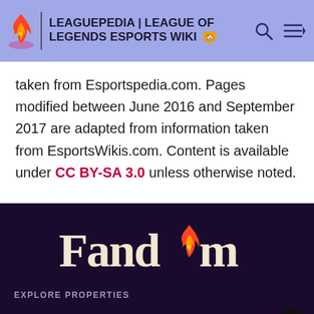LEAGUEPEDIA | LEAGUE OF LEGENDS ESPORTS WIKI
taken from Esportspedia.com. Pages modified between June 2016 and September 2017 are adapted from information taken from EsportsWikis.com. Content is available under CC BY-SA 3.0 unless otherwise noted.
[Figure (logo): Fandom logo with flame icon in dark purple footer]
EXPLORE PROPERTIES
Fandom
Cortex RPG
Fanatical
[Figure (screenshot): Best Buy advertisement banner in blue with yellow dot]